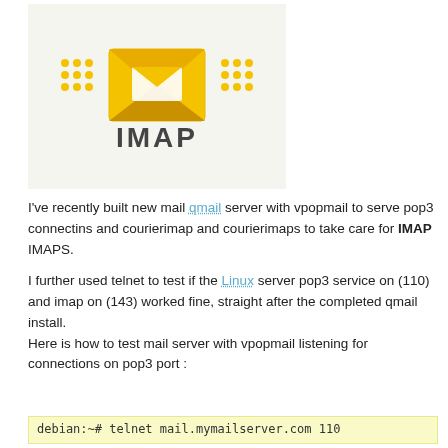[Figure (logo): IMAP logo: yellow envelope icon with dotted/dashed decorations on sides and the word IMAP below in dark gray bold text, on a light gray/white background]
I've recently built new mail qmail server with vpopmail to serve pop3 connectins and courierimap and courierimaps to take care for IMAP IMAPS.
I further used telnet to test if the Linux server pop3 service on (110) and imap on (143) worked fine, straight after the completed qmail install.
Here is how to test mail server with vpopmail listening for connections on pop3 port :
debian:~# telnet mail.mymailserver.com 110